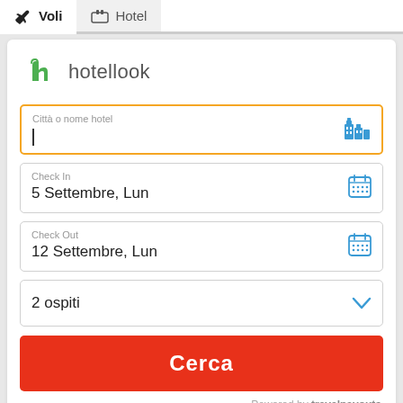Voli | Hotel
[Figure (logo): hotellook logo - stylized green h letter with hotellook text]
Città o nome hotel
Check In
5 Settembre, Lun
Check Out
12 Settembre, Lun
2 ospiti
Cerca
Powered by travelpayouts